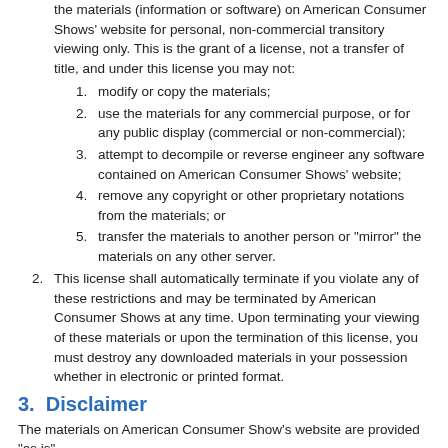the materials (information or software) on American Consumer Shows' website for personal, non-commercial transitory viewing only. This is the grant of a license, not a transfer of title, and under this license you may not:
1. modify or copy the materials;
2. use the materials for any commercial purpose, or for any public display (commercial or non-commercial);
3. attempt to decompile or reverse engineer any software contained on American Consumer Shows' website;
4. remove any copyright or other proprietary notations from the materials; or
5. transfer the materials to another person or "mirror" the materials on any other server.
2. This license shall automatically terminate if you violate any of these restrictions and may be terminated by American Consumer Shows at any time. Upon terminating your viewing of these materials or upon the termination of this license, you must destroy any downloaded materials in your possession whether in electronic or printed format.
3. Disclaimer
The materials on American Consumer Show's website are provided "as is".